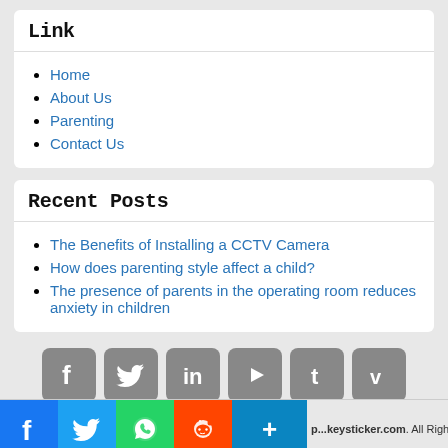Link
Home
About Us
Parenting
Contact Us
Recent Posts
The Benefits of Installing a CCTV Camera
How does parenting style affect a child?
The presence of parents in the operating room reduces anxiety in children
[Figure (infographic): Row of six gray social media icon buttons: Facebook, Twitter, LinkedIn, YouTube, Tumblr, Vimeo]
Copyright p...keysticker.com. All Rights Reserved.